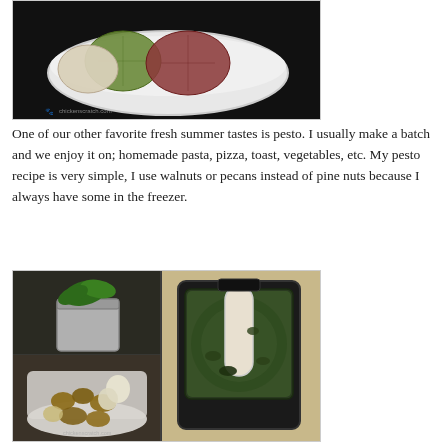[Figure (photo): A white bowl containing sliced tomatoes of different varieties — green, white/pale, and red/purple — on a dark background. A small watermark reads 'chickenscratch.com' in the lower left.]
One of our other favorite fresh summer tastes is pesto. I usually make a batch and we enjoy it on; homemade pasta, pizza, toast, vegetables, etc. My pesto recipe is very simple, I use walnuts or pecans instead of pine nuts because I always have some in the freezer.
[Figure (photo): A collage of four food preparation photos showing pesto being made in a food processor: top-left shows fresh basil leaves in a metal cup, bottom-left shows walnuts and garlic cloves in a food processor bowl, the large right panel shows a food processor filled with blended green pesto. A small watermark reads 'chickenscratch.com'.]